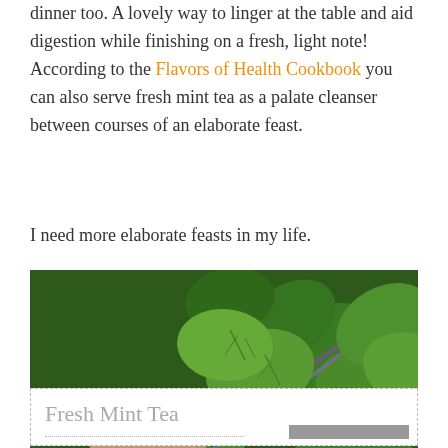dinner too. A lovely way to linger at the table and aid digestion while finishing on a fresh, light note! According to the Flavors of Health Cookbook you can also serve fresh mint tea as a palate cleanser between courses of an elaborate feast.
I need more elaborate feasts in my life.
[Figure (photo): A hand picking or holding fresh mint plant stems with lush green leaves, close-up photo outdoors.]
Fresh Mint Tea